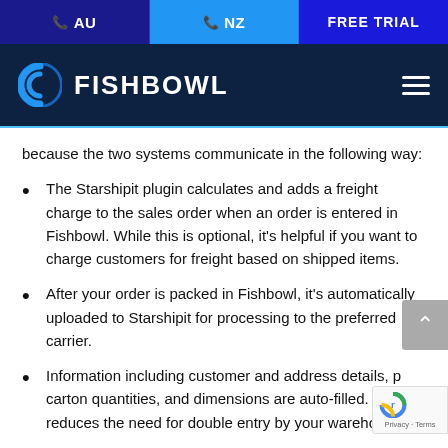AU  NZ  FREE TRIAL
[Figure (logo): Fishbowl logo with circular blue icon on dark navy background, hamburger menu icon on right]
because the two systems communicate in the following way:
The Starshipit plugin calculates and adds a freight charge to the sales order when an order is entered in Fishbowl. While this is optional, it's helpful if you want to charge customers for freight based on shipped items.
After your order is packed in Fishbowl, it's automatically uploaded to Starshipit for processing to the preferred carrier.
Information including customer and address details, p... carton quantities, and dimensions are auto-filled. This reduces the need for double entry by your warehouse